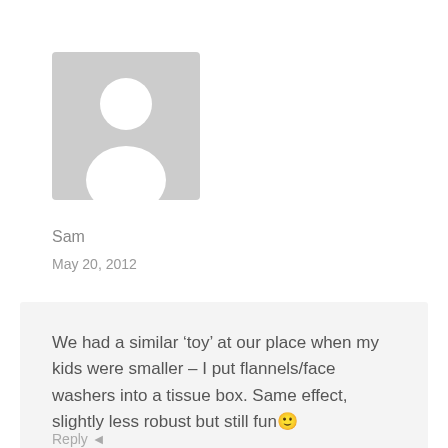[Figure (illustration): Generic user avatar placeholder: light gray square with rounded corners containing a white silhouette of a person (head circle and body shape)]
Sam
May 20, 2012
We had a similar ‘toy’ at our place when my kids were smaller – I put flannels/face washers into a tissue box. Same effect, slightly less robust but still fun🙂
Reply